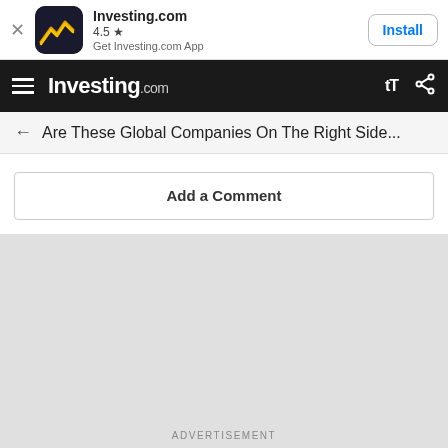[Figure (screenshot): Investing.com app install banner with icon, 4.5 star rating, and Install button]
Investing.com navigation bar with hamburger menu, logo, text size and share icons
Are These Global Companies On The Right Side...
Add a Comment
[Figure (screenshot): Gray content area placeholder]
ADVERTISEMENT
Start Trading | AD |